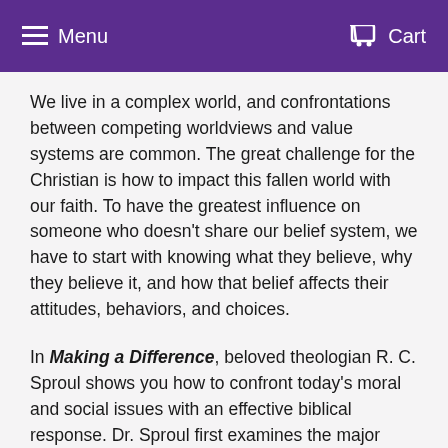Menu  Cart
We live in a complex world, and confrontations between competing worldviews and value systems are common. The great challenge for the Christian is how to impact this fallen world with our faith. To have the greatest influence on someone who doesn't share our belief system, we have to start with knowing what they believe, why they believe it, and how that belief affects their attitudes, behaviors, and choices.
In Making a Difference, beloved theologian R. C. Sproul shows you how to confront today's moral and social issues with an effective biblical response. Dr. Sproul first examines the major philosophies that affect the way we think and act--secularism, existentialism, humanism, and pragmatism--and then presents ideas on how to apply a biblical perspective to spheres of public life that need your faithful influence today: economics, science, art and